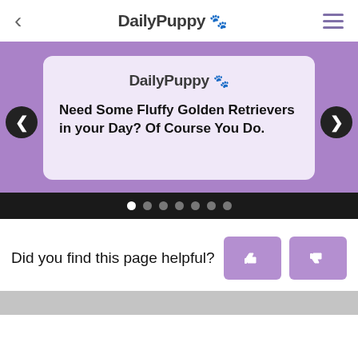< DailyPuppy 🐾 ☰
[Figure (screenshot): Carousel slide showing DailyPuppy logo and article title: Need Some Fluffy Golden Retrievers in your Day? Of Course You Do. Purple background with navigation arrows and dot indicators.]
Did you find this page helpful?